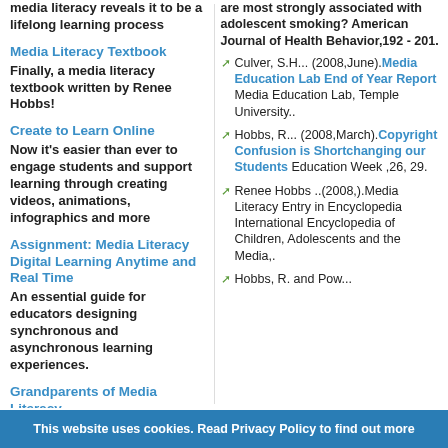media literacy reveals it to be a lifelong learning process
Media Literacy Textbook
Finally, a media literacy textbook written by Renee Hobbs!
Create to Learn Online
Now it's easier than ever to engage students and support learning through creating videos, animations, infographics and more
Assignment: Media Literacy Digital Learning Anytime and Real Time
An essential guide for educators designing synchronous and asynchronous learning experiences.
Grandparents of Media Literacy
Undergraduate and graduate students
are most strongly associated with adolescent smoking? American Journal of Health Behavior,192 - 201.
Culver, S.H... (2008,June). Media Education Lab End of Year Report Media Education Lab, Temple University..
Hobbs, R... (2008,March). Copyright Confusion is Shortchanging our Students Education Week ,26, 29.
Renee Hobbs ..(2008,).Media Literacy Entry in Encyclopedia International Encyclopedia of Children, Adolescents and the Media,.
Hobbs, R. and Pow...
This website uses cookies. Read Privacy Policy to find out more